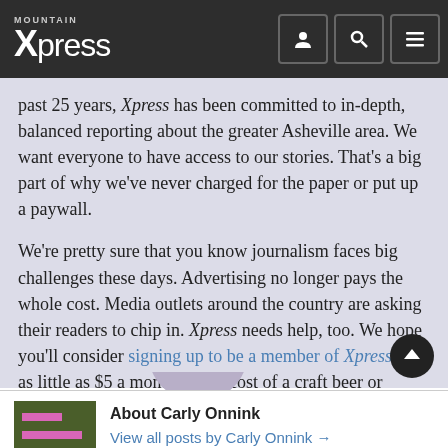Mountain Xpress
past 25 years, Xpress has been committed to in-depth, balanced reporting about the greater Asheville area. We want everyone to have access to our stories. That's a big part of why we've never charged for the paper or put up a paywall.
We're pretty sure that you know journalism faces big challenges these days. Advertising no longer pays the whole cost. Media outlets around the country are asking their readers to chip in. Xpress needs help, too. We hope you'll consider signing up to be a member of Xpress. For as little as $5 a month — the cost of a craft beer or kombucha — you can help keep local journalism strong. It only takes a moment.
About Carly Onnink
View all posts by Carly Onnink →